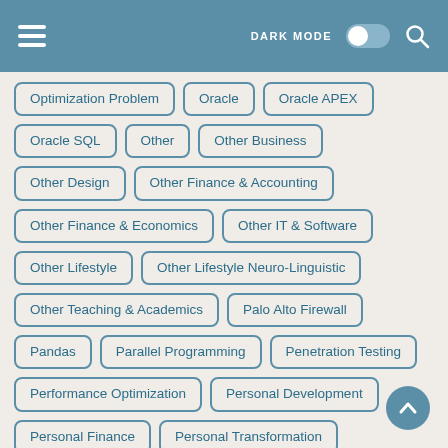DARK MODE [toggle] [search]
Optimization Problem
Oracle
Oracle APEX
Oracle SQL
Other
Other Business
Other Design
Other Finance & Accounting
Other Finance & Economics
Other IT & Software
Other Lifestyle
Other Lifestyle Neuro-Linguistic
Other Teaching & Academics
Palo Alto Firewall
Pandas
Parallel Programming
Penetration Testing
Performance Optimization
Personal Development
Personal Finance
Personal Transformation
Photography
Photography Fundamentals
Photoshop
PHP
PHP MVC
PI/SQL
PLC
PMBOK
PMI-ACP